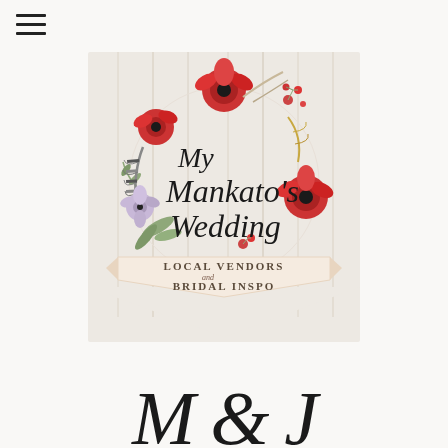[Figure (logo): My Mankato Wedding logo with floral wreath (red poppies, feathers, greenery) on white wood background with banner reading 'Local Vendors and Bridal Inspo']
My & J